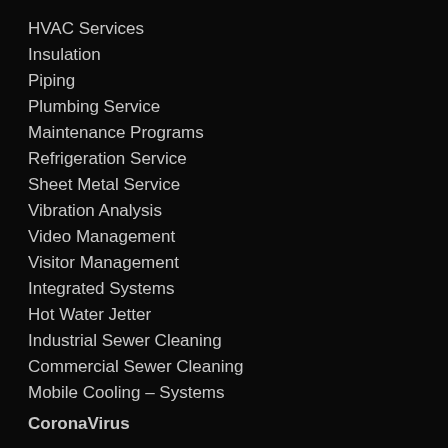HVAC Services
Insulation
Piping
Plumbing Service
Maintenance Programs
Refrigeration Service
Sheet Metal Service
Vibration Analysis
Video Management
Visitor Management
Integrated Systems
Hot Water Jetter
Industrial Sewer Cleaning
Commercial Sewer Cleaning
Mobile Cooling – Systems
CoronaVirus